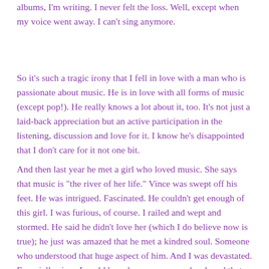albums, I'm writing. I never felt the loss. Well, except when my voice went away. I can't sing anymore.
So it's such a tragic irony that I fell in love with a man who is passionate about music. He is in love with all forms of music (except pop!). He really knows a lot about it, too. It's not just a laid-back appreciation but an active participation in the listening, discussion and love for it. I know he's disappointed that I don't care for it not one bit.
And then last year he met a girl who loved music. She says that music is "the river of her life." Vince was swept off his feet. He was intrigued. Fascinated. He couldn't get enough of this girl. I was furious, of course. I railed and wept and stormed. He said he didn't love her (which I do believe now is true); he just was amazed that he met a kindred soul. Someone who understood that huge aspect of him. And I was devastated. Especially since I could have been someone who shared that passion if I had grown up with different decisions. I had thought after that I would change to what I "should be", embrace music again, study it, learn its nuances, and maybe